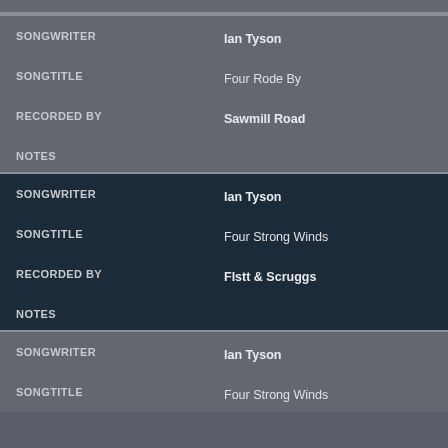| Field | Value |
| --- | --- |
| SONGWRITER | Ian Tyson |
| SONGTITLE | Four Rode By |
| RECORDED BY | Sawmill Road |
| NOTES |  |
| Field | Value |
| --- | --- |
| SONGWRITER | Ian Tyson |
| SONGTITLE | Four Strong Winds |
| RECORDED BY | Flstt & Scruggs |
| NOTES |  |
| Field | Value |
| --- | --- |
| SONGWRITER | Ian Tyson |
| SONGTITLE | Four Strong Winds |